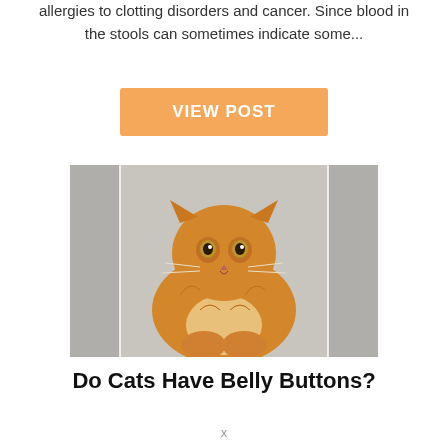allergies to clotting disorders and cancer. Since blood in the stools can sometimes indicate some...
[Figure (other): Orange button labeled VIEW POST]
[Figure (photo): Photo of a fluffy orange/ginger cat sitting and looking at the camera, with a blurred grey background]
Do Cats Have Belly Buttons?
x